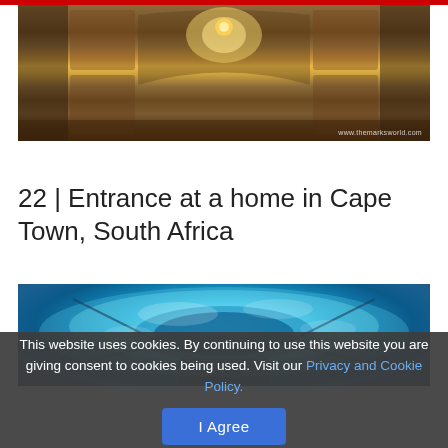[Figure (photo): Interior of an ornate building with elaborate frescoes and murals on the walls and ceiling, featuring an arched window with a chandelier, photographed with a wide-angle lens. Watermark: www.themarksworld.com]
Source
22 | Entrance at a home in Cape Town, South Africa
[Figure (photo): Modern architectural interior featuring a large circular or curved skylight/ceiling element with aqua blue reflective glass panels showing cloud reflections, viewed from below]
This website uses cookies. By continuing to use this website you are giving consent to cookies being used. Visit our Privacy and Cookie Policy.
I Agree